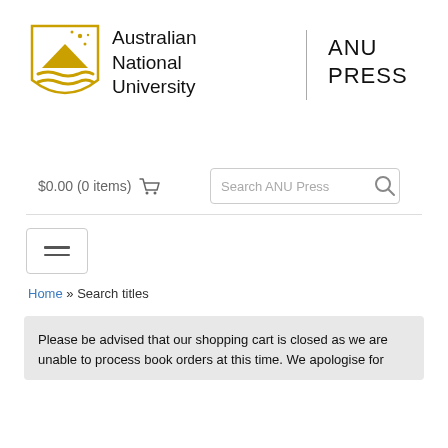[Figure (logo): Australian National University shield logo with golden mountain and wave motifs]
Australian National University
ANU PRESS
$0.00 (0 items) 🛒
Search ANU Press
Home » Search titles
Please be advised that our shopping cart is closed as we are unable to process book orders at this time. We apologise for